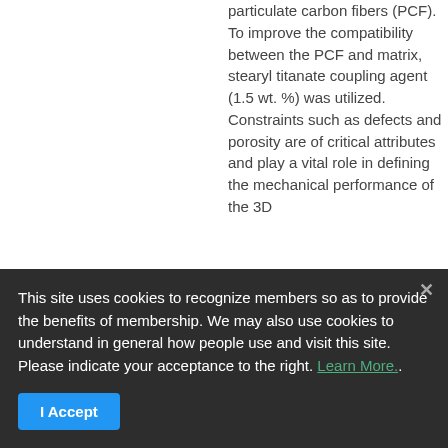particulate carbon fibers (PCF). To improve the compatibility between the PCF and matrix, stearyl titanate coupling agent (1.5 wt. %) was utilized. Constraints such as defects and porosity are of critical attributes and play a vital role in defining the mechanical performance of the 3D
This site uses cookies to recognize members so as to provide the benefits of membership. We may also use cookies to understand in general how people use and visit this site. Please indicate your acceptance to the right. Learn More..